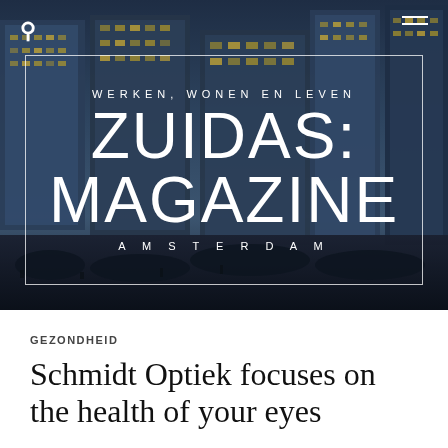[Figure (photo): Aerial/street-level photo of Zuidas Amsterdam district at dusk with modern glass skyscrapers illuminated, crowds of people and bicycles in the foreground]
WERKEN, WONEN EN LEVEN
ZUIDAS:
MAGAZINE
AMSTERDAM
GEZONDHEID
Schmidt Optiek focuses on the health of your eyes